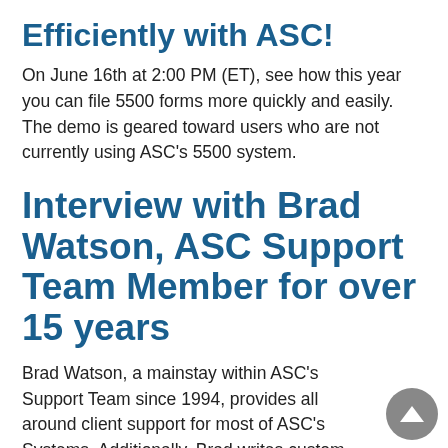Efficiently with ASC!
On June 16th at 2:00 PM (ET), see how this year you can file 5500 forms more quickly and easily. The demo is geared toward users who are not currently using ASC's 5500 system.
Interview with Brad Watson, ASC Support Team Member for over 15 years
Brad Watson, a mainstay within ASC's Support Team since 1994, provides all around client support for most of ASC's Systems. Additionally, Brad writes custom routines for clients, including